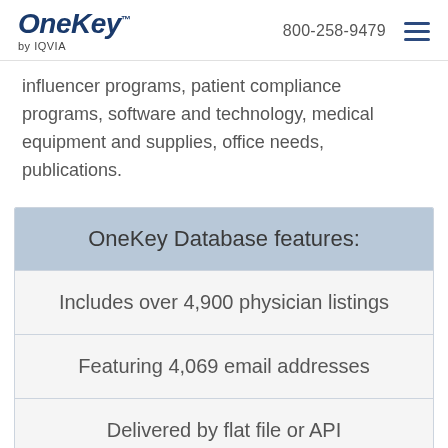OneKey by IQVIA | 800-258-9479
influencer programs, patient compliance programs, software and technology, medical equipment and supplies, office needs, publications.
| OneKey Database features: |
| --- |
| Includes over 4,900 physician listings |
| Featuring 4,069 email addresses |
| Delivered by flat file or API |
| Data cleansing service available |